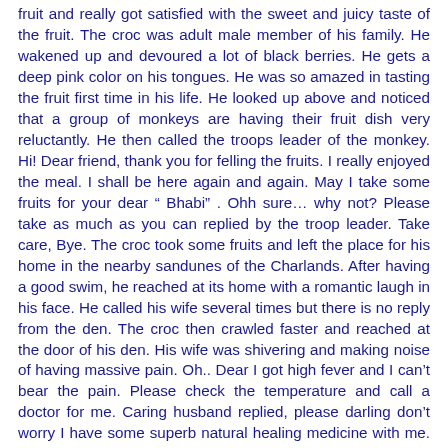fruit and really got satisfied with the sweet and juicy taste of the fruit. The croc was adult male member of his family. He wakened up and devoured a lot of black berries. He gets a deep pink color on his tongues. He was so amazed in tasting the fruit first time in his life. He looked up above and noticed that a group of monkeys are having their fruit dish very reluctantly. He then called the troops leader of the monkey. Hi! Dear friend, thank you for felling the fruits. I really enjoyed the meal. I shall be here again and again. May I take some fruits for your dear “ Bhabi” . Ohh sure… why not? Please take as much as you can replied by the troop leader. Take care, Bye. The croc took some fruits and left the place for his home in the nearby sandunes of the Charlands. After having a good swim, he reached at its home with a romantic laugh in his face. He called his wife several times but there is no reply from the den. The croc then crawled faster and reached at the door of his den. His wife was shivering and making noise of having massive pain. Oh.. Dear I got high fever and I can't bear the pain. Please check the temperature and call a doctor for me. Caring husband replied, please darling don’t worry I have some superb natural healing medicine with me. You will be cured very soon dear. No… dear this will not work as because I am habituated in allopathic medicine. I don’t like to have herbal one at all. Please call the house physician at once. It is not an influenza, it might be Kalahazzor . Husband got